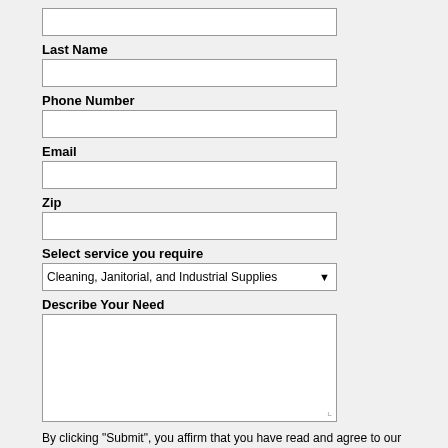(input field — top, partially visible)
Last Name
Phone Number
Email
Zip
Select service you require
Cleaning, Janitorial, and Industrial Supplies
Describe Your Need
By clicking "Submit", you affirm that you have read and agree to our privacy policy and terms and that you wish to be contacted by the company you selected. You also agree and authorize us and the